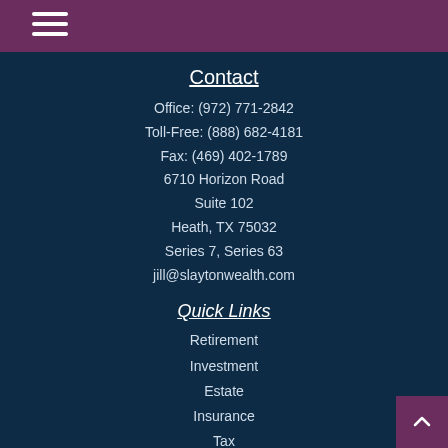[Figure (other): Purple header bar with hamburger menu icon (three horizontal white lines)]
Contact
Office: (972) 771-2842
Toll-Free: (888) 682-4181
Fax: (469) 402-1789
6710 Horizon Road
Suite 102
Heath, TX 75032
Series 7, Series 63
jill@slaytonwealth.com
Quick Links
Retirement
Investment
Estate
Insurance
Tax
Money
Lifestyle